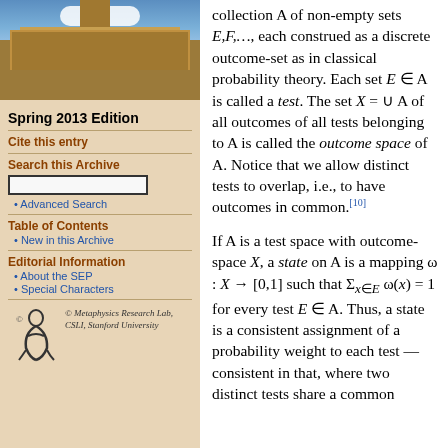[Figure (photo): Photograph of a historic stone university building (likely Stanford University) with blue sky and clouds]
Spring 2013 Edition
Cite this entry
Search this Archive
Advanced Search
Table of Contents
New in this Archive
Editorial Information
About the SEP
Special Characters
[Figure (logo): Metaphysics Research Lab, CSLI, Stanford University logo with stylized figure]
collection A of non-empty sets E,F,…, each construed as a discrete outcome-set as in classical probability theory. Each set E ∈ A is called a test. The set X = ∪ A of all outcomes of all tests belonging to A is called the outcome space of A. Notice that we allow distinct tests to overlap, i.e., to have outcomes in common.[10]
If A is a test space with outcome-space X, a state on A is a mapping ω : X → [0,1] such that Σ_{x∈E} ω(x) = 1 for every test E ∈ A. Thus, a state is a consistent assignment of a probability weight to each test —consistent in that, where two distinct tests share a common